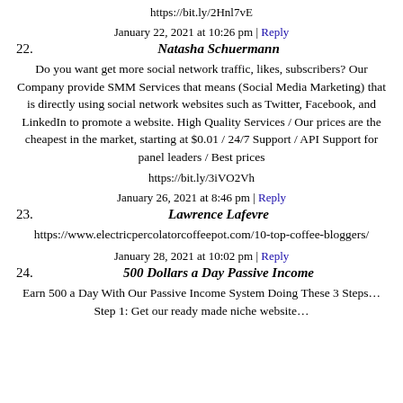https://bit.ly/2Hnl7vE
January 22, 2021 at 10:26 pm | Reply
22. Natasha Schuermann
Do you want get more social network traffic, likes, subscribers? Our Company provide SMM Services that means (Social Media Marketing) that is directly using social network websites such as Twitter, Facebook, and LinkedIn to promote a website. High Quality Services / Our prices are the cheapest in the market, starting at $0.01 / 24/7 Support / API Support for panel leaders / Best prices
https://bit.ly/3iVO2Vh
January 26, 2021 at 8:46 pm | Reply
23. Lawrence Lafevre
https://www.electricpercolatorcoffeepot.com/10-top-coffee-bloggers/
January 28, 2021 at 10:02 pm | Reply
24. 500 Dollars a Day Passive Income
Earn 500 a Day With Our Passive Income System Doing These 3 Steps… Step 1: Get our ready made niche website…